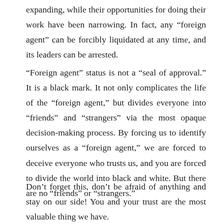expanding, while their opportunities for doing their work have been narrowing. In fact, any “foreign agent” can be forcibly liquidated at any time, and its leaders can be arrested.
“Foreign agent” status is not a “seal of approval.” It is a black mark. It not only complicates the life of the “foreign agent,” but divides everyone into “friends” and “strangers” via the most opaque decision-making process. By forcing us to identify ourselves as a “foreign agent,” we are forced to deceive everyone who trusts us, and you are forced to divide the world into black and white. But there are no “friends” or “strangers.”
Don’t forget this, don’t be afraid of anything and stay on our side! You and your trust are the most valuable thing we have.